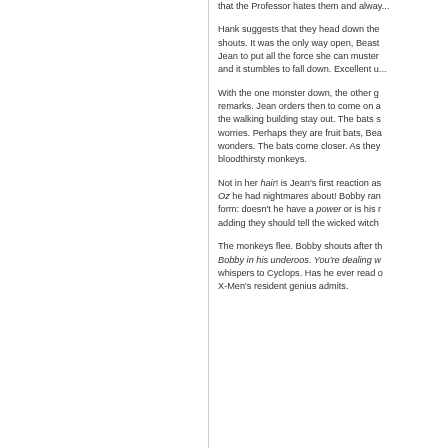that the Professor hates them and alway...
Hank suggests that they head down the... shouts. It was the only way open, Beast... Jean to put all the force she can muster... and it stumbles to fall down. Excellent u...
With the one monster down, the other g... remarks. Jean orders then to come on a... the walking building stay out. The bats s... worries. Perhaps they are fruit bats, Bea... wonders. The bats come closer. As they... bloodthirsty monkeys.
Not in her hair! is Jean's first reaction as... Oz he had nightmares about! Bobby ran... form: doesn't he have a power or is his r... adding they should tell the wicked witch...
The monkeys flee. Bobby shouts after th... Bobby in his underoos. You're dealing w... whispers to Cyclops. Has he ever read o... X-Men's resident genius admits.